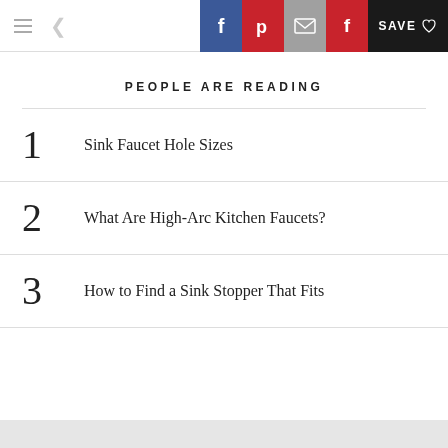Navigation bar with hamburger menu, back arrow, and social share buttons: Facebook, Pinterest, Email, Flipboard, Save
PEOPLE ARE READING
1 Sink Faucet Hole Sizes
2 What Are High-Arc Kitchen Faucets?
3 How to Find a Sink Stopper That Fits